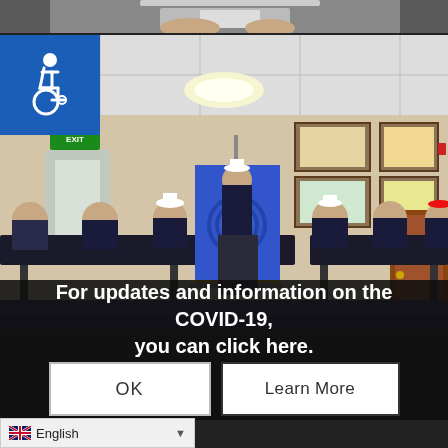[Figure (photo): Top strip: partial photo of people at a table, cropped at hands/papers level]
[Figure (photo): Accessibility (wheelchair) icon on blue square background, overlaid top-left of main photo]
[Figure (photo): Meeting room photo: Several men in suits and veterans caps seated at dark tables, one man standing at podium with blue American Legion flag/banner, framed artwork on beige walls]
For updates and information on the COVID-19, you can click here.
OK
Learn More
English